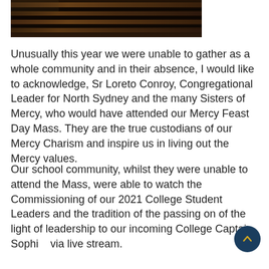[Figure (photo): Dark photo of wooden church pews viewed from above/side angle, showing dark brown wood tones]
Unusually this year we were unable to gather as a whole community and in their absence, I would like to acknowledge, Sr Loreto Conroy, Congregational Leader for North Sydney and the many Sisters of Mercy, who would have attended our Mercy Feast Day Mass. They are the true custodians of our Mercy Charism and inspire us in living out the Mercy values.
Our school community, whilst they were unable to attend the Mass, were able to watch the Commissioning of our 2021 College Student Leaders and the tradition of the passing on of the light of leadership to our incoming College Captain Sophi... via live stream.